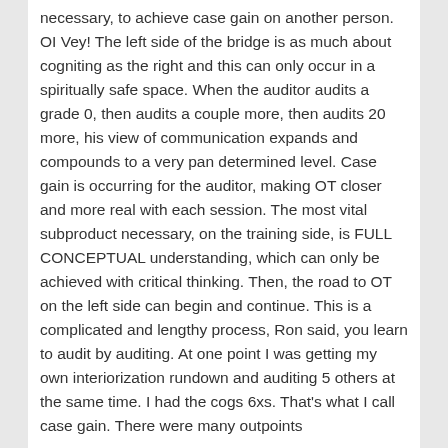necessary, to achieve case gain on another person. OI Vey! The left side of the bridge is as much about cogniting as the right and this can only occur in a spiritually safe space. When the auditor audits a grade 0, then audits a couple more, then audits 20 more, his view of communication expands and compounds to a very pan determined level. Case gain is occurring for the auditor, making OT closer and more real with each session. The most vital subproduct necessary, on the training side, is FULL CONCEPTUAL understanding, which can only be achieved with critical thinking. Then, the road to OT on the left side can begin and continue. This is a complicated and lengthy process, Ron said, you learn to audit by auditing. At one point I was getting my own interiorization rundown and auditing 5 others at the same time. I had the cogs 6xs. That's what I call case gain. There were many outpoints